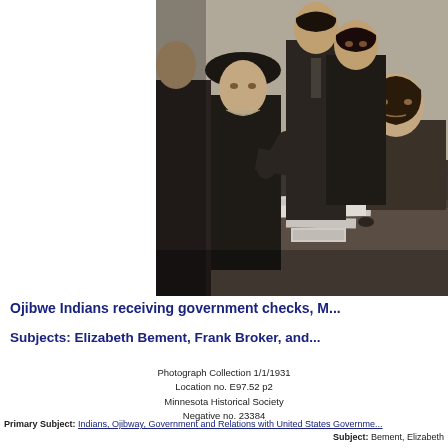[Figure (photo): Black and white photograph of Ojibwe Indians receiving government checks, circa 1931. Several people are gathered around a desk, with a woman seated at the desk and others standing nearby. Papers and documents are on the desk.]
Ojibwe Indians receiving government checks, M...
Subjects: Elizabeth Bement, Frank Broker, and...
Photograph Collection 1/1/1931
Location no. E97.52 p2
Minnesota Historical Society
Negative no. 23384
Primary Subject: Indians, Ojibway, Government and Relations with United States Governme...
Subject: Bement, Elizabeth